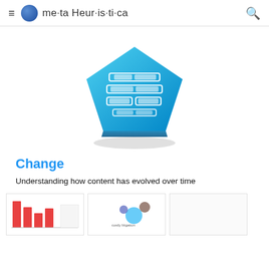me·ta Heur·is·ti·ca
[Figure (illustration): A 3D blue pentagon-shaped icon with a stacked layers / database symbol embossed in white on its surface, suggesting data or content layering.]
Change
Understanding how content has evolved over time
[Figure (screenshot): Thumbnail strip showing partial previews of sub-articles: a bar chart thumbnail on the left, a scatter plot with 'costly litigation' label in the middle, and a blank/partial card on the right.]